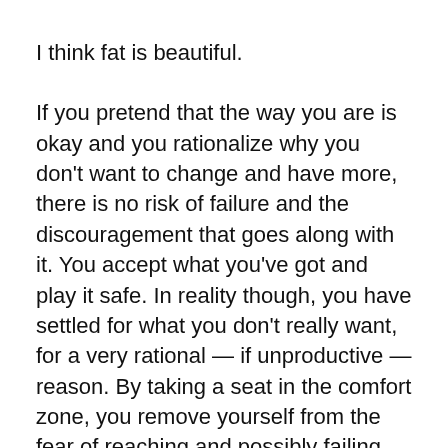I think fat is beautiful.
If you pretend that the way you are is okay and you rationalize why you don't want to change and have more, there is no risk of failure and the discouragement that goes along with it. You accept what you've got and play it safe. In reality though, you have settled for what you don't really want, for a very rational — if unproductive — reason. By taking a seat in the comfort zone, you remove yourself from the fear of reaching and possibly failing.
While comfortable, that sort of life can be more than inert. Staying in your comfort zone can be hazardous to your health and your genuine well-